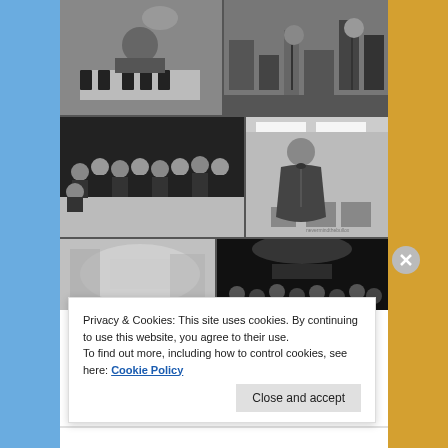[Figure (photo): Collage of black and white performance photos: top row shows two images - a person at a keyboard/piano and a band performing on stage with equipment; middle row shows a large group dance performance photo on a stage with black curtain backdrop, and a smaller photo of a woman singing into a microphone; bottom row shows two partial photos - a blurred interior and an audience in a dark theater.]
Privacy & Cookies: This site uses cookies. By continuing to use this website, you agree to their use.
To find out more, including how to control cookies, see here: Cookie Policy
Close and accept